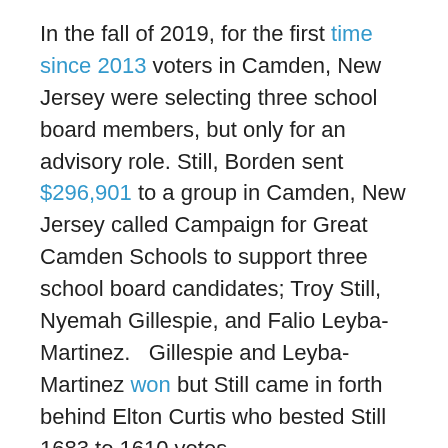In the fall of 2019, for the first time since 2013 voters in Camden, New Jersey were selecting three school board members, but only for an advisory role. Still, Borden sent $296,901 to a group in Camden, New Jersey called Campaign for Great Camden Schools to support three school board candidates; Troy Still, Nyemah Gillespie, and Falio Leyba-Martinez.   Gillespie and Leyba-Martinez won but Still came in forth behind Elton Curtis who bested Still 1683 to 1610 votes.
In the spring of 2019, Saint Louis had just ended a lengthy state school takeover and two school board seats were up for election. Leadership for Education Equity was supporting former Teach For America (TFA) corps member Tracee Miller both monetarily and with campaign services for one of the two open seats. The other TFA corps member running in the election was Adam Layno. Layno